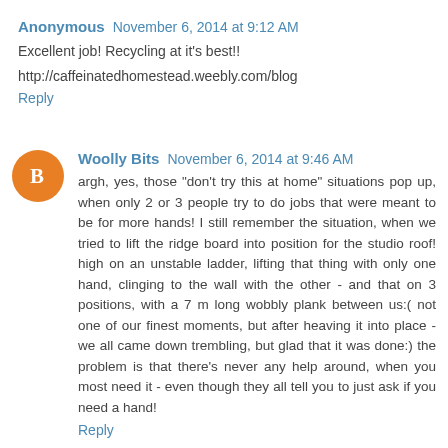Anonymous  November 6, 2014 at 9:12 AM
Excellent job! Recycling at it's best!!
http://caffeinatedhomestead.weebly.com/blog
Reply
Woolly Bits  November 6, 2014 at 9:46 AM
argh, yes, those "don't try this at home" situations pop up, when only 2 or 3 people try to do jobs that were meant to be for more hands! I still remember the situation, when we tried to lift the ridge board into position for the studio roof! high on an unstable ladder, lifting that thing with only one hand, clinging to the wall with the other - and that on 3 positions, with a 7 m long wobbly plank between us:( not one of our finest moments, but after heaving it into place - we all came down trembling, but glad that it was done:) the problem is that there's never any help around, when you most need it - even though they all tell you to just ask if you need a hand!
Reply